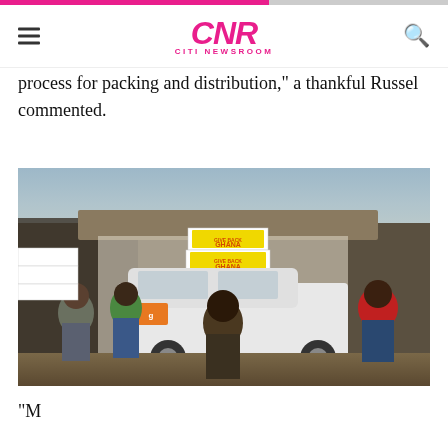CNR CITI NEWSROOM
process for packing and distribution," a thankful Russel commented.
[Figure (photo): People loading 'Give Back Ghana' branded yellow boxes onto a white vehicle in a street scene. A child stands in the foreground with back to camera, several adults visible around the vehicle.]
"M